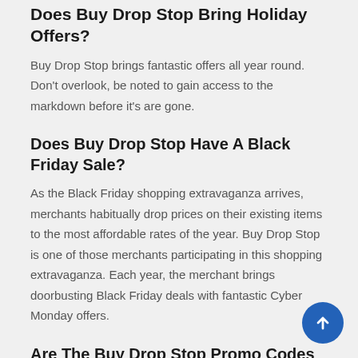Does Buy Drop Stop Bring Holiday Offers?
Buy Drop Stop brings fantastic offers all year round. Don't overlook, be noted to gain access to the markdown before it's are gone.
Does Buy Drop Stop Have A Black Friday Sale?
As the Black Friday shopping extravaganza arrives, merchants habitually drop prices on their existing items to the most affordable rates of the year. Buy Drop Stop is one of those merchants participating in this shopping extravaganza. Each year, the merchant brings doorbusting Black Friday deals with fantastic Cyber Monday offers.
Are The Buy Drop Stop Promo Codes Updated?
TopDealSpy brings a large selection of promo codes for Buy Drop Stop. If a promo code is classified as "Verified", that means we have checked its authenticity and it is a working code on